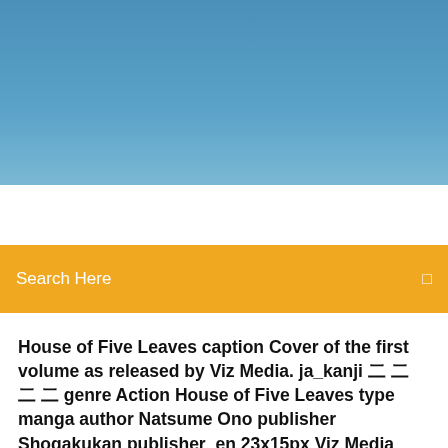[Figure (photo): Blue gradient header banner / background image at the top of a webpage]
Search Here
House of Five Leaves caption Cover of the first volume as released by Viz Media. ja_kanji 五葉の宿 genre Action House of Five Leaves type manga author Natsume Ono publisher Shogakukan publisher_en 23x15px Viz Media demographic Seinen magazine Ikki first 2006 last 2010 volumes 7 House of Five
Embed Tweet. House of Five Leaves Volume 1 Manga Review Day 64 Anime: ACCA: 13-ku Kansatsu-ka/ ACCA: 13-Territory Inspection Dept. Song: Shadow   |